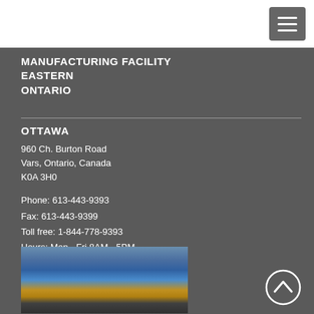[Figure (screenshot): Hamburger menu icon button in top right corner]
MANUFACTURING FACILITY EASTERN ONTARIO
OTTAWA
960 Ch. Burton Road
Vars, Ontario, Canada
K0A 3H0
Phone: 613-443-9393
Fax: 613-443-9399
Toll free: 1-844-778-9393
Hours: Mon - Fri 8AM - 5PM
[Figure (photo): Interior of manufacturing facility showing industrial machinery including blue and yellow equipment]
[Figure (other): Scroll to top chevron/arrow circle button]